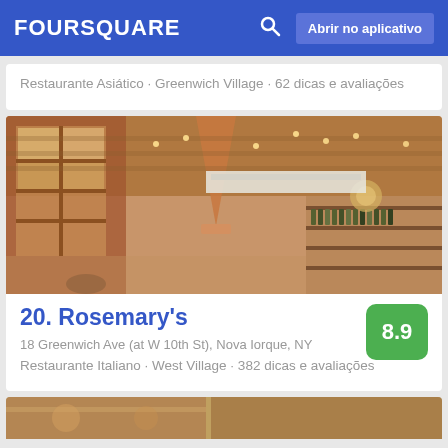FOURSQUARE  Abrir no aplicativo
Restaurante Asiático · Greenwich Village · 62 dicas e avaliações
[Figure (photo): Interior of Rosemary's restaurant showing warm lighting, pendant lamps, brick walls and a bar area with wine bottles]
20. Rosemary's
18 Greenwich Ave (at W 10th St), Nova Iorque, NY
Restaurante Italiano · West Village · 382 dicas e avaliações
[Figure (photo): Partial view of next listing card at bottom of page]